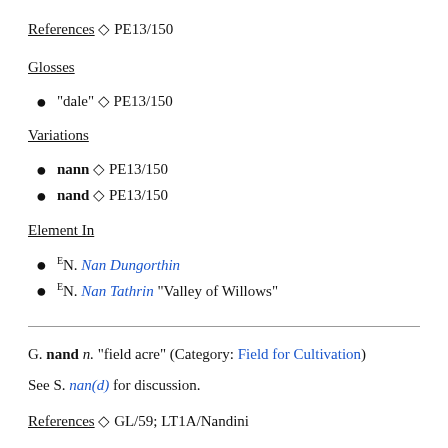References ◇ PE13/150
Glosses
"dale" ◇ PE13/150
Variations
nann ◇ PE13/150
nand ◇ PE13/150
Element In
EN. Nan Dungorthin
EN. Nan Tathrin "Valley of Willows"
G. nand n. "field acre" (Category: Field for Cultivation)
See S. nan(d) for discussion.
References ◇ GL/59; LT1A/Nandini
Glosses